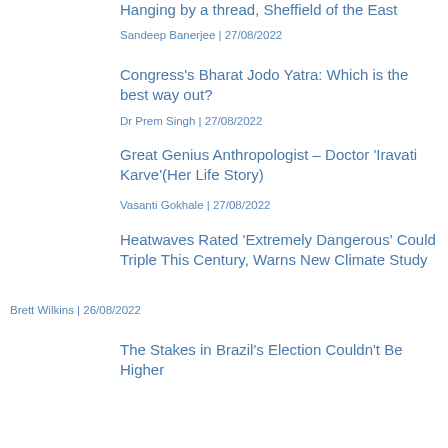Hanging by a thread, Sheffield of the East
Sandeep Banerjee | 27/08/2022
Congress's Bharat Jodo Yatra: Which is the best way out?
Dr Prem Singh | 27/08/2022
Great Genius Anthropologist – Doctor 'Iravati Karve'(Her Life Story)
Vasanti Gokhale | 27/08/2022
Heatwaves Rated 'Extremely Dangerous' Could Triple This Century, Warns New Climate Study
Brett Wilkins | 26/08/2022
The Stakes in Brazil's Election Couldn't Be Higher